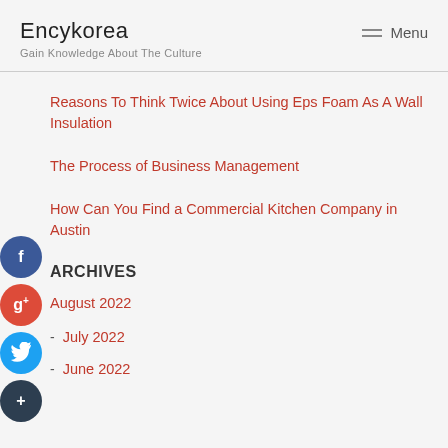Encykorea
Gain Knowledge About The Culture
Reasons To Think Twice About Using Eps Foam As A Wall Insulation
The Process of Business Management
How Can You Find a Commercial Kitchen Company in Austin
ARCHIVES
August 2022
- July 2022
- June 2022